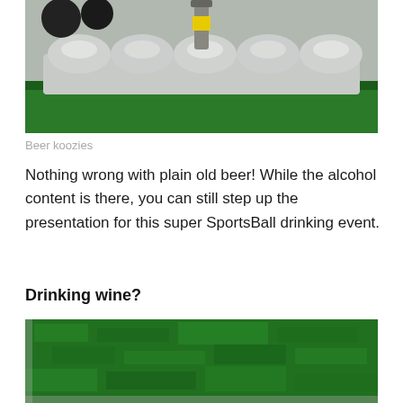[Figure (photo): Close-up photo of beer koozies on green artificial grass background with a bottle cap shaped metallic holder in silver/chrome finish]
Beer koozies
Nothing wrong with plain old beer! While the alcohol content is there, you can still step up the presentation for this super SportsBall drinking event.
Drinking wine?
[Figure (photo): Close-up photo of dark green artificial grass or turf texture]